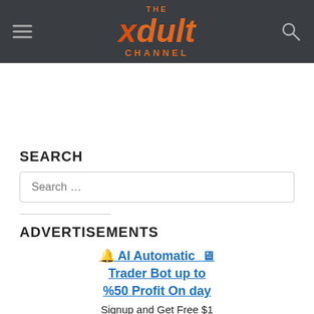THE xdult CHANNEL
SEARCH
Search ...
ADVERTISEMENTS
🔔 AI Automatic Trader Bot up to %50 Profit On day
Signup and Get Free $1